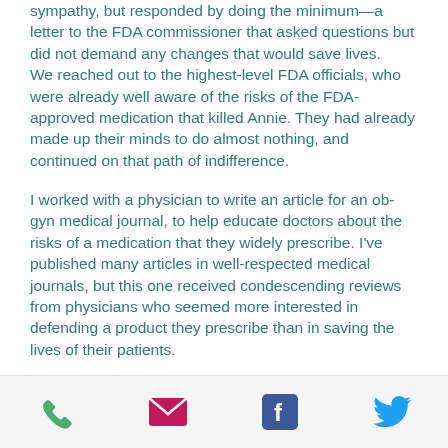sympathy, but responded by doing the minimum—a letter to the FDA commissioner that asked questions but did not demand any changes that would save lives. We reached out to the highest-level FDA officials, who were already well aware of the risks of the FDA-approved medication that killed Annie. They had already made up their minds to do almost nothing, and continued on that path of indifference.
I worked with a physician to write an article for an ob-gyn medical journal, to help educate doctors about the risks of a medication that they widely prescribe. I've published many articles in well-respected medical journals, but this one received condescending reviews from physicians who seemed more interested in defending a product they prescribe than in saving the lives of their patients.
[Figure (other): Footer bar with four social/contact icons: phone (green), email/envelope (pink/magenta), Facebook (blue), Twitter bird (light blue)]